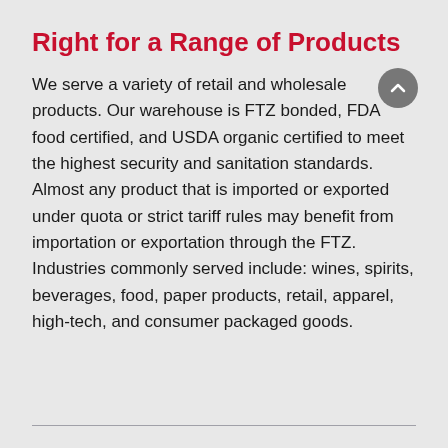Right for a Range of Products
We serve a variety of retail and wholesale products. Our warehouse is FTZ bonded, FDA food certified, and USDA organic certified to meet the highest security and sanitation standards. Almost any product that is imported or exported under quota or strict tariff rules may benefit from importation or exportation through the FTZ. Industries commonly served include: wines, spirits, beverages, food, paper products, retail, apparel, high-tech, and consumer packaged goods.